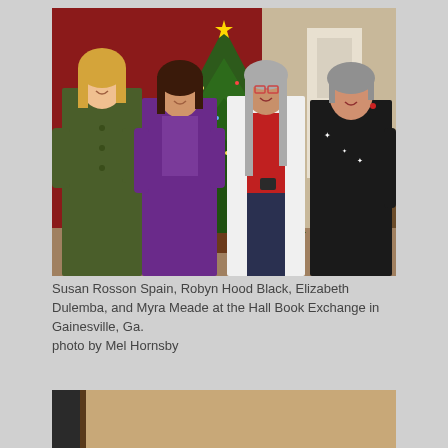[Figure (photo): Four women standing together in front of a decorated Christmas tree. From left: a woman in a green coat with blonde hair, a woman in a purple sweater and scarf, a woman in a white jacket with red shirt and long gray hair wearing glasses, and a woman in a black top with short gray hair. Red wall in background.]
Susan Rosson Spain, Robyn Hood Black, Elizabeth Dulemba, and Myra Meade at the Hall Book Exchange in Gainesville, Ga. photo by Mel Hornsby
[Figure (photo): Partial view of a second photo, showing a light tan/beige background with a dark vertical element on the left side.]